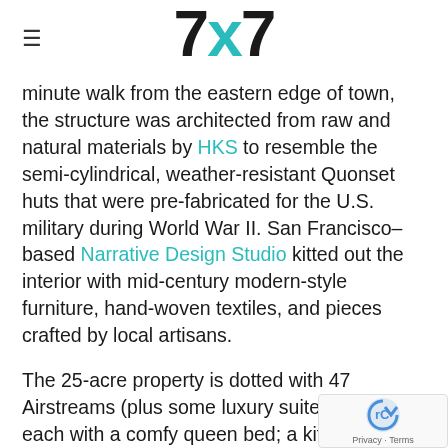☰  7x7
minute walk from the eastern edge of town, the structure was architected from raw and natural materials by HKS to resemble the semi-cylindrical, weather-resistant Quonset huts that were pre-fabricated for the U.S. military during World War II. San Francisco–based Narrative Design Studio kitted out the interior with mid-century modern-style furniture, hand-woven textiles, and pieces crafted by local artisans.
The 25-acre property is dotted with 47 Airstreams (plus some luxury suites and tents) each with a comfy queen bed; a kitchenette stocked with basic dishes, cookware and utensils (you'll appreciate the cast iron pan for grilling); closets; and a bathroom with a shower, sink, and toilet. Nice little extras include bathrobes, some essential toiletries